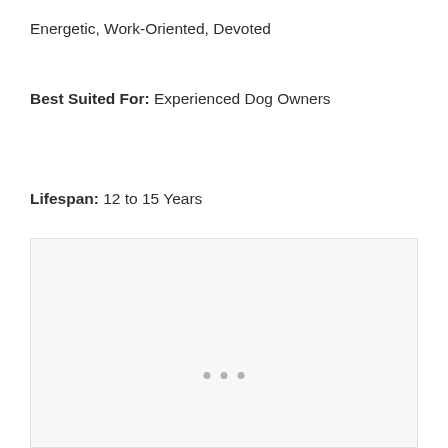Energetic, Work-Oriented, Devoted
Best Suited For: Experienced Dog Owners
Lifespan: 12 to 15 Years
[Figure (other): A light gray placeholder image box with three small dots near the bottom center, indicating a loading or empty image slot.]